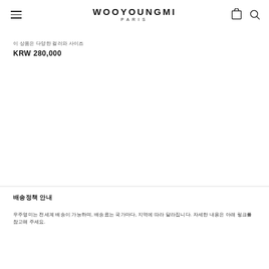WOOYOUNGMI PARIS
이 상품은 다양한 컬러와 사이즈
KRW 280,000
배송정책 안내
우주영미는 전세계 배송이 가능하며, 배송료는 국가마다, 지역에 따라 달라집니다. 자세한 내용은 아래 링크를 참고해 주세요.